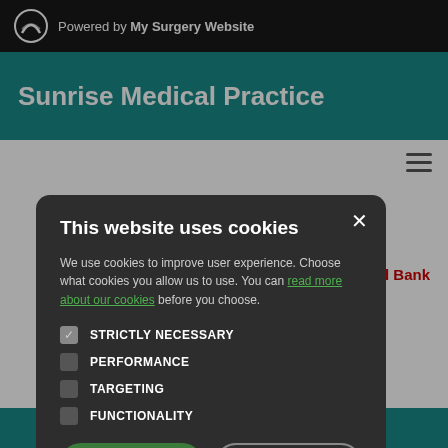Powered by My Surgery Website
Sunrise Medical Practice
[Figure (screenshot): Cookie consent modal dialog over a medical practice website. The modal has a dark background with options: Strictly Necessary (checked), Performance, Targeting, Functionality. Two buttons: Accept All and Decline All.]
This website uses cookies
We use cookies to improve user experience. Choose what cookies you allow us to use. You can read more about our cookies before you choose.
STRICTLY NECESSARY
PERFORMANCE
TARGETING
FUNCTIONALITY